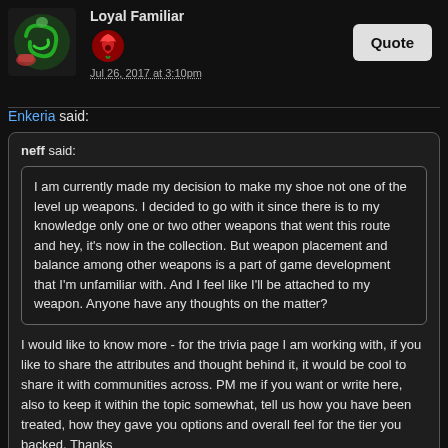Loyal Familiar
Jul 26, 2017 at 3:10pm
Enkeria said:
neff said:
I am currently made my decision to make my shoe not one of the level up weapons. I decided to go with it since there is to my knowledge only one or two other weapons that went this route and hey, it's now in the collection. But weapon placement and balance among other weapons is a part of game development that I'm unfamiliar with. And I feel like I'll be attached to my weapon. Anyone have any thoughts on the matter?
I would like to know more - for the trivia page I am working with, if you like to share the attributes and thought behind it, it would be cool to share it with communities across. PM me if you want or write here, also to keep it within the topic somewhat, tell us how you have been treated, how they gave you options and overall feel for the tier you backed. Thanks